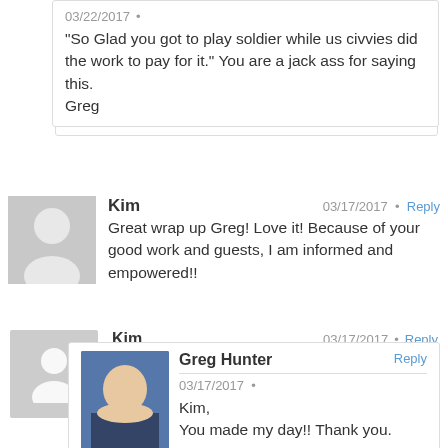"So Glad you got to play soldier while us civvies did the work to pay for it." You are a jack ass for saying this.
Greg
Kim  03/17/2017  Reply
Great wrap up Greg! Love it! Because of your good work and guests, I am informed and empowered!!
Greg Hunter  Reply
03/17/2017
Kim,
You made my day!! Thank you.
Greg